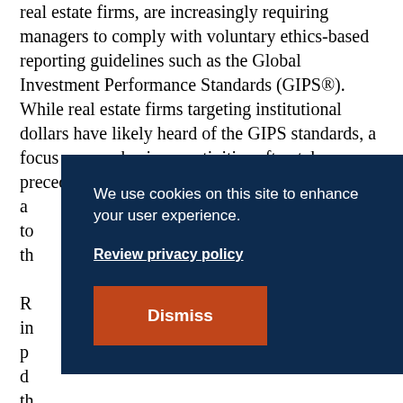real estate firms, are increasingly requiring managers to comply with voluntary ethics-based reporting guidelines such as the Global Investment Performance Standards (GIPS®). While real estate firms targeting institutional dollars have likely heard of the GIPS standards, a focus on core business activities often takes precedence and these firms a... y to... f th...
[Figure (other): Cookie consent overlay on dark navy background with text 'We use cookies on this site to enhance your user experience.' and a 'Review privacy policy' link and an orange 'Dismiss' button.]
R... in... p... d... th... intermediary channels. Such channels, in some cases, require legal representation of internal rate...